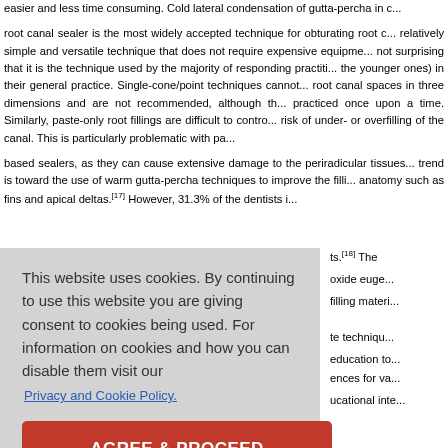easier and less time consuming. Cold lateral condensation of gutta-percha in c... root canal sealer is the most widely accepted technique for obturating root c... relatively simple and versatile technique that does not require expensive equipme... not surprising that it is the technique used by the majority of responding practiti... the younger ones) in their general practice. Single-cone/point techniques cannot... root canal spaces in three dimensions and are not recommended, although th... practiced once upon a time. Similarly, paste-only root fillings are difficult to contro... risk of under- or overfilling of the canal. This is particularly problematic with pa...
based sealers, as they can cause extensive damage to the periradicular tissues... trend is toward the use of warm gutta-percha techniques to improve the filli... anatomy such as fins and apical deltas.[17] However, 31.3% of the dentists i...
ts.[18] The... oxide euge... filling materi...
te techniqu... education to...
ences for va... ucational inte...
[Figure (screenshot): Cookie consent overlay dialog with message 'This website uses cookies. By continuing to use this website you are giving consent to cookies being used. For information on cookies and how you can disable them visit our Privacy and Cookie Policy.' and an AGREE & PROCEED red button.]